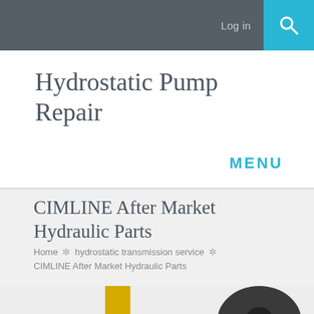Log in  [Search]
Hydrostatic Pump Repair
MENU
CIMLINE After Market Hydraulic Parts
Home ✼ hydrostatic transmission service ✼ CIMLINE After Market Hydraulic Parts
[Figure (photo): Partial view of a hydraulic pump component with yellow vertical bars on left and right sides of the image]